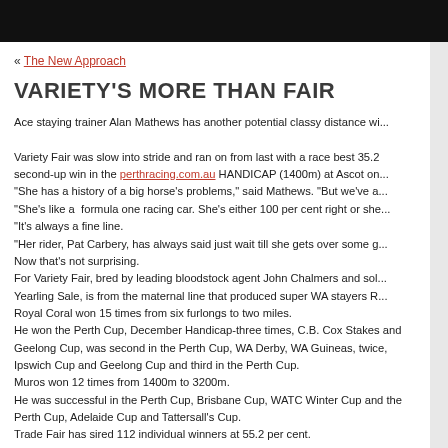« The New Approach
VARIETY'S MORE THAN FAIR
Ace staying trainer Alan Mathews has another potential classy distance wi...
Variety Fair was slow into stride and ran on from last with a race best 35.2 second-up win in the perthracing.com.au HANDICAP (1400m) at Ascot on... "She has a history of a big horse's problems," said Mathews. "But we've a... "She's like a formula one racing car. She's either 100 per cent right or she... "It's always a fine line. "Her rider, Pat Carbery, has always said just wait till she gets over some g... Now that's not surprising. For Variety Fair, bred by leading bloodstock agent John Chalmers and sol... Yearling Sale, is from the maternal line that produced super WA stayers R... Royal Coral won 15 times from six furlongs to two miles. He won the Perth Cup, December Handicap-three times, C.B. Cox Stakes and Geelong Cup, was second in the Perth Cup, WA Derby, WA Guineas, twice, Ipswich Cup and Geelong Cup and third in the Perth Cup. Muros won 12 times from 1400m to 3200m. He was successful in the Perth Cup, Brisbane Cup, WATC Winter Cup and the Perth Cup, Adelaide Cup and Tattersall's Cup. Trade Fair has sired 112 individual winners at 55.2 per cent.